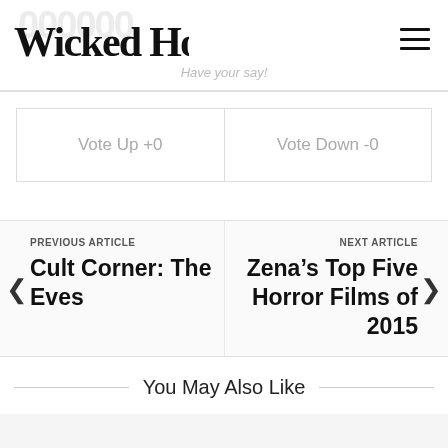Wicked Horror — Have your say!
Vote Up +0
Vote Down -0
PREVIOUS ARTICLE
Cult Corner: The Eves
NEXT ARTICLE
Zena's Top Five Horror Films of 2015
You May Also Like